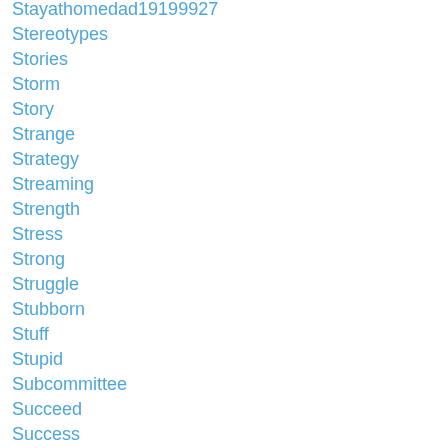Stayathomedad19199927
Stereotypes
Stories
Storm
Story
Strange
Strategy
Streaming
Strength
Stress
Strong
Struggle
Stubborn
Stuff
Stupid
Subcommittee
Succeed
Success
Suffering
Suggestion
Suggestions